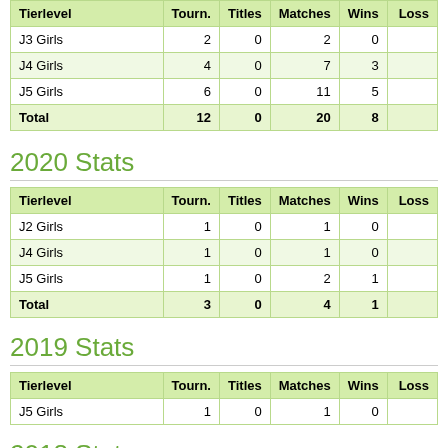| Tierlevel | Tourn. | Titles | Matches | Wins | Loss |
| --- | --- | --- | --- | --- | --- |
| J3 Girls | 2 | 0 | 2 | 0 |  |
| J4 Girls | 4 | 0 | 7 | 3 |  |
| J5 Girls | 6 | 0 | 11 | 5 |  |
| Total | 12 | 0 | 20 | 8 |  |
2020 Stats
| Tierlevel | Tourn. | Titles | Matches | Wins | Loss |
| --- | --- | --- | --- | --- | --- |
| J2 Girls | 1 | 0 | 1 | 0 |  |
| J4 Girls | 1 | 0 | 1 | 0 |  |
| J5 Girls | 1 | 0 | 2 | 1 |  |
| Total | 3 | 0 | 4 | 1 |  |
2019 Stats
| Tierlevel | Tourn. | Titles | Matches | Wins | Loss |
| --- | --- | --- | --- | --- | --- |
| J5 Girls | 1 | 0 | 1 | 0 |  |
2018 Stats
| Tierlevel | Tourn. | Titles | Matches | Wins | Loss |
| --- | --- | --- | --- | --- | --- |
| J5 Girls | 2 | 0 | 5 | 2 |  |